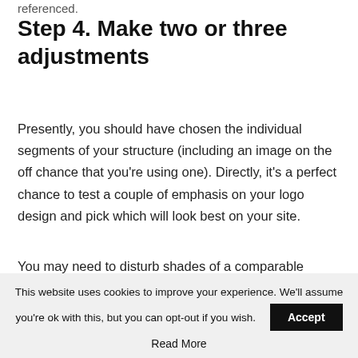referenced.
Step 4. Make two or three adjustments
Presently, you should have chosen the individual segments of your structure (including an image on the off chance that you're using one). Directly, it's a perfect chance to test a couple of emphasis on your logo design and pick which will look best on your site.
You may need to disturb shades of a comparable concealing palette or content styles from an equal typeface family to guarantee that each part capacities commendable together. Moreover, make several
This website uses cookies to improve your experience. We'll assume you're ok with this, but you can opt-out if you wish. Accept Read More